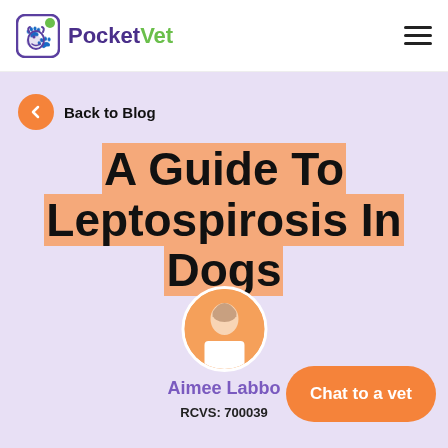PocketVet
Back to Blog
A Guide To Leptospirosis In Dogs
[Figure (photo): Circular profile photo of Aimee Labbo, a woman in white medical/veterinary attire, against an orange background]
Aimee Labbo
RCVS: 700039
Chat to a vet